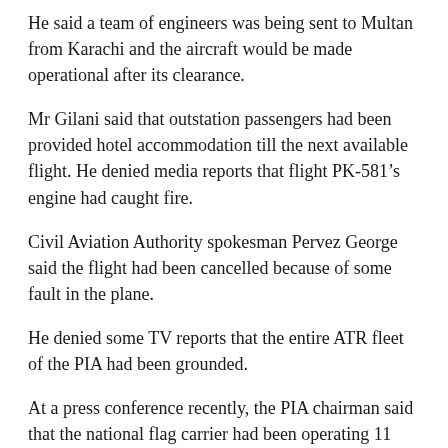He said a team of engineers was being sent to Multan from Karachi and the aircraft would be made operational after its clearance.
Mr Gilani said that outstation passengers had been provided hotel accommodation till the next available flight. He denied media reports that flight PK-581’s engine had caught fire.
Civil Aviation Authority spokesman Pervez George said the flight had been cancelled because of some fault in the plane.
He denied some TV reports that the entire ATR fleet of the PIA had been grounded.
At a press conference recently, the PIA chairman said that the national flag carrier had been operating 11 ATRs before the plane crash near Havelian on Wednesday. He said that one of the planes